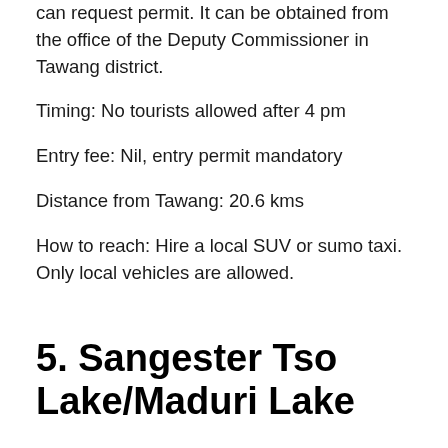can request permit. It can be obtained from the office of the Deputy Commissioner in Tawang district.
Timing: No tourists allowed after 4 pm
Entry fee: Nil, entry permit mandatory
Distance from Tawang: 20.6 kms
How to reach: Hire a local SUV or sumo taxi. Only local vehicles are allowed.
5. Sangester Tso Lake/Maduri Lake